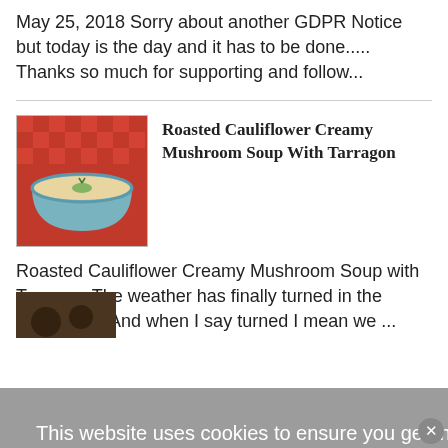May 25, 2018 Sorry about another GDPR Notice but today is the day and it has to be done..... Thanks so much for supporting and follow...
[Figure (photo): Thumbnail photo of a bowl of soup on a red checkered cloth]
Roasted Cauliflower Creamy Mushroom Soup With Tarragon
Roasted Cauliflower Creamy Mushroom Soup with Tarragon The weather has finally turned in the Southwest. And when I say turned I mean we ...
This website uses cookies to ensure you get the best experience on our website. If you do not consent, please navigate away from the website.  Learn more
I get it & consent to cookies